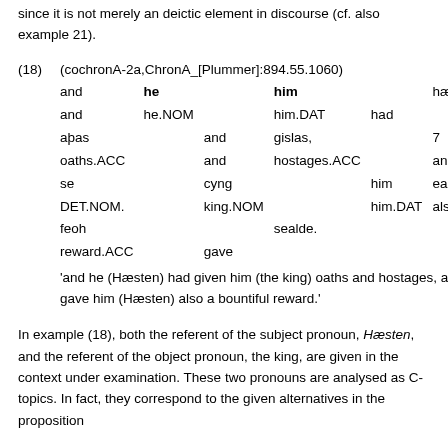since it is not merely an deictic element in discourse (cf. also example 21).
(18) (cochronA-2a,ChronA_[Plummer]:894.55.1060)
and he him hæfde geseald
and he.NOM him.DAT had given
aþas and gislas, 7
oaths.ACC and hostages.ACC and
se cyng him eac wel
DET.NOM. king.NOM him.DAT also well
feoh sealde.
reward.ACC gave
'and he (Hæsten) had given him (the king) oaths and hostages, and the king gave him (Hæsten) also a bountiful reward.'
In example (18), both the referent of the subject pronoun, Hæsten, and the referent of the object pronoun, the king, are given in the context under examination. These two pronouns are analysed as C-topics. In fact, they correspond to the given alternatives in the proposition